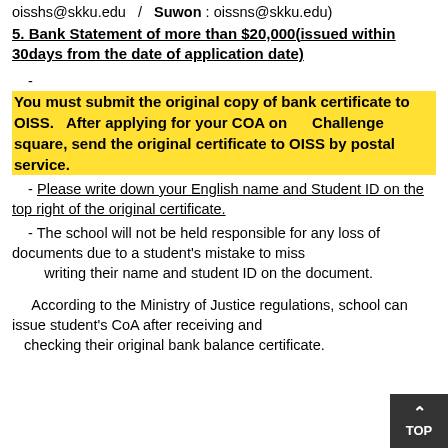oisshs@skku.edu  /  Suwon : oissns@skku.edu)
5. Bank Statement of more than $20,000(issued within 30days from the date of application date)
- You must submit the original copy of bank certificate to OISS.   After applying for your COA on      Challenge square, send the original certificate to OISS by postal service.
- Please write down your English name and Student ID on the top right of the original certificate.
- The school will not be held responsible for any loss of documents due to a student's mistake to miss      writing their name and student ID on the document.
According to the Ministry of Justice regulations, school can issue student's CoA after receiving and   checking their original bank balance certificate.